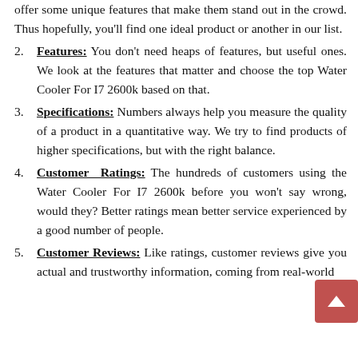offer some unique features that make them stand out in the crowd. Thus hopefully, you'll find one ideal product or another in our list.
Features: You don't need heaps of features, but useful ones. We look at the features that matter and choose the top Water Cooler For I7 2600k based on that.
Specifications: Numbers always help you measure the quality of a product in a quantitative way. We try to find products of higher specifications, but with the right balance.
Customer Ratings: The hundreds of customers using the Water Cooler For I7 2600k before you won't say wrong, would they? Better ratings mean better service experienced by a good number of people.
Customer Reviews: Like ratings, customer reviews give you actual and trustworthy information, coming from real-world